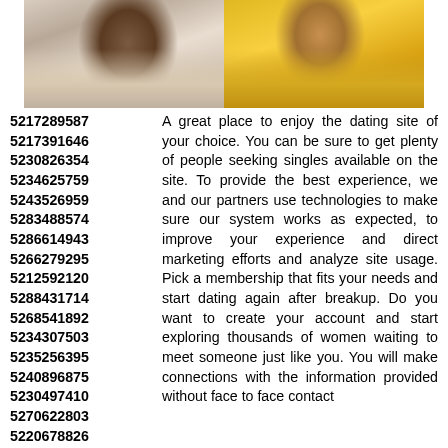[Figure (photo): Two photos side by side: left shows a woman in a white t-shirt with a print, right shows a person in a gold/yellow sequined jacket]
5217289587 5217391646 5230826354 5234625759 5243526959 5283488574 5286614943 5266279295 5212592120 5288431714 5268541892 5234307503 5235256395 5240896875 5230497410 5270622803 5220678826 5298477620 5210194546 5215234131 5269152504 5293432566
A great place to enjoy the dating site of your choice. You can be sure to get plenty of people seeking singles available on the site. To provide the best experience, we and our partners use technologies to make sure our system works as expected, to improve your experience and direct marketing efforts and analyze site usage. Pick a membership that fits your needs and start dating again after breakup. Do you want to create your account and start exploring thousands of women waiting to meet someone just like you. You will make connections with the information provided without face to face contact